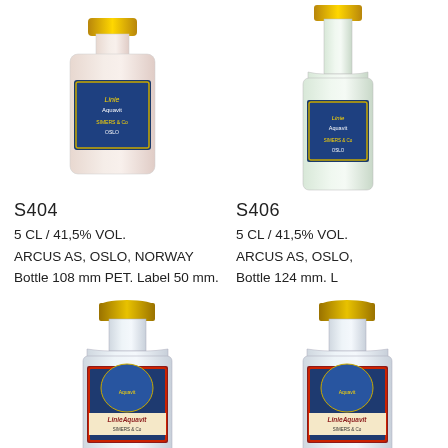[Figure (photo): Miniature bottle of Linie Aquavit S404, PET bottle, 5 CL, shown from front, no cap visible, squat shape with blue and gold label, Simers & Co Oslo]
[Figure (photo): Miniature bottle of Linie Aquavit S406, glass bottle, 5 CL, shown from front, taller shape with blue and gold label, Simers & Co Oslo]
S404
5 CL / 41,5% VOL.
ARCUS AS, OSLO, NORWAY
Bottle 108 mm PET. Label 50 mm.
S406
5 CL / 41,5% VOL.
ARCUS AS, OSLO,
Bottle 124 mm. L
[Figure (photo): Miniature glass bottle of Linie Aquavit, gold cap, taller bottle, blue red and gold label with Simers & Co, bottom half of bottle shown]
[Figure (photo): Miniature glass bottle of Linie Aquavit, gold cap, taller bottle, blue red and gold label with Simers & Co, bottom half of bottle shown, right side]